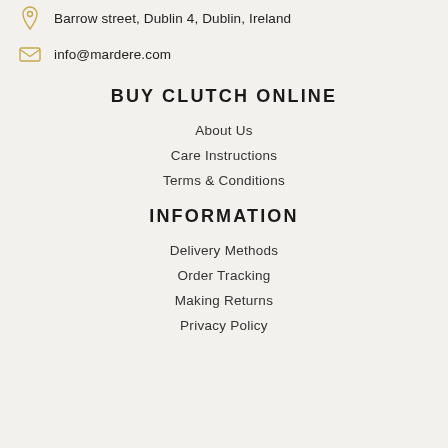Barrow street, Dublin 4, Dublin, Ireland
info@mardere.com
BUY CLUTCH ONLINE
About Us
Care Instructions
Terms & Conditions
INFORMATION
Delivery Methods
Order Tracking
Making Returns
Privacy Policy